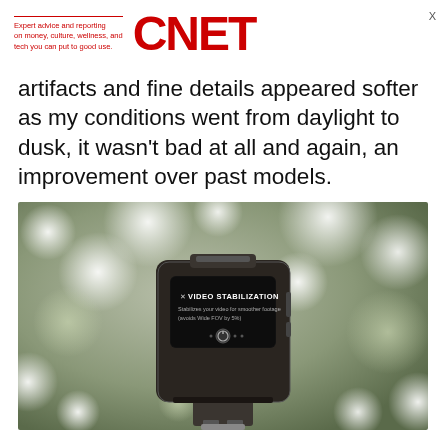Expert advice and reporting on money, culture, wellness, and tech you can put to good use. CNET
artifacts and fine details appeared softer as my conditions went from daylight to dusk, it wasn't bad at all and again, an improvement over past models.
[Figure (photo): A GoPro action camera displayed in its housing, screen showing 'VIDEO STABILIZATION - Stabilizes your video for smoother footage (avoids Wide FOV by 5%)' menu, with bokeh green/white background.]